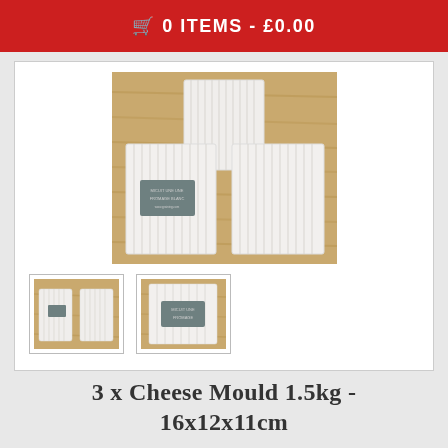🛒 0 ITEMS - £0.00
[Figure (photo): Three white ribbed plastic cheese moulds (1.5kg size) arranged in a triangular stack on a wooden surface; one mould has a small grey label on the front]
[Figure (photo): Thumbnail 1: Two white cheese moulds side by side on wooden surface]
[Figure (photo): Thumbnail 2: Single white ribbed cheese mould with grey label, close-up view]
3 x Cheese Mould 1.5kg - 16x12x11cm